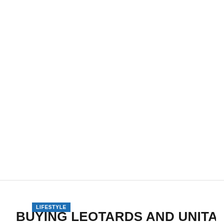[Figure (photo): Large image area occupying the top portion of the page, mostly white/blank in this view]
LIFESTYLE
BUYING LEOTARDS AND UNITARDS